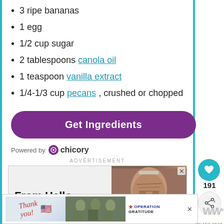3 ripe bananas
1 egg
1/2 cup sugar
2 tablespoons canola oil
1 teaspoon vanilla extract
1/4-1/3 cup pecans , crushed or chopped
[Figure (other): Purple rounded 'Get Ingredients' button with Chicory branding below]
Powered by chicory
ADVERTISEMENT
[Figure (other): Advertisement banner: 'From Hello to Help,' with image of elderly man's face]
[Figure (other): Bottom advertisement: Thank you with Operation Gratitude logo and military imagery]